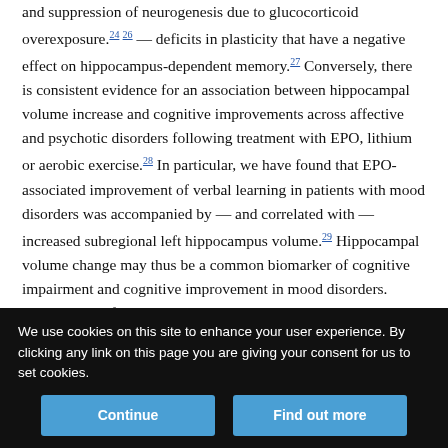and suppression of neurogenesis due to glucocorticoid overexposure.24–26 — deficits in plasticity that have a negative effect on hippocampus-dependent memory.27 Conversely, there is consistent evidence for an association between hippocampal volume increase and cognitive improvements across affective and psychotic disorders following treatment with EPO, lithium or aerobic exercise.28 In particular, we have found that EPO-associated improvement of verbal learning in patients with mood disorders was accompanied by — and correlated with — increased subregional left hippocampus volume.29 Hippocampal volume change may thus be a common biomarker of cognitive impairment and cognitive improvement in mood disorders. Further, loss of interhemisphere hippocampal asymmetry has emerged as a putative biomarker of
We use cookies on this site to enhance your user experience. By clicking any link on this page you are giving your consent for us to set cookies.